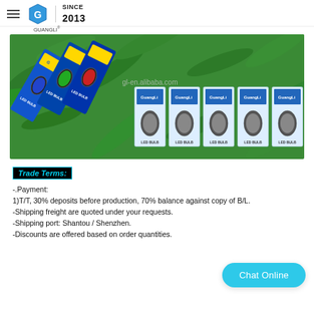GUANGLI - SINCE 2013
[Figure (photo): Product photo showing GuangLi LED BULB packages on green plant background. Multiple colorful LED bulb card packages and white box packages labeled GuangLi LED BULB. Website watermark: gl-en.alibaba.com]
Trade Terms:
-.Payment:
1)T/T, 30% deposits before production, 70% balance against copy of B/L.
-Shipping freight are quoted under your requests.
-Shipping port: Shantou / Shenzhen.
-Discounts are offered based on order quantities.